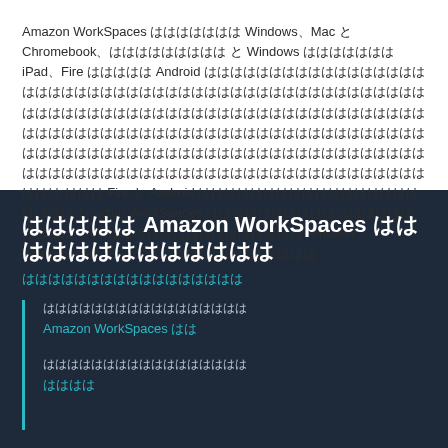Amazon WorkSpaces ははははははは Windows、Mac と Chromebook、ははははははははは と Windows ははははははは iPad、Fire ははははは Android ははははははははははははははははははははははははは ははは Fire と Android ははははははははははははははははははははは Amazon WorkSpaces ははははははははははは はははは Web ははははははははははははははは Amazon WorkSpacesははははははははははははははははは
ははははは Amazon WorkSpaces ははははははははははははは
はははははははははははははははは
Amazon WorkSpaces はは
ははははははははははははははははは
はははは